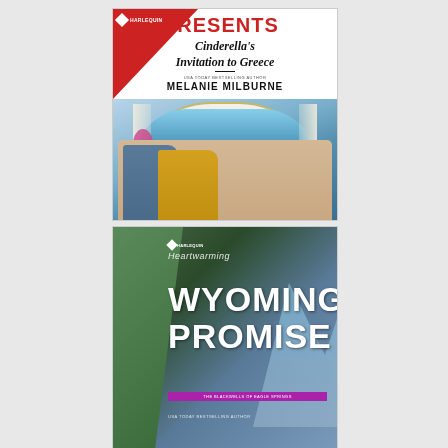[Figure (illustration): Harlequin Presents book cover: 'Cinderella's Invitation to Greece' by Melanie Milburne. White cover with red triangle top-left showing Harlequin diamond logo, 'PRESENTS' in red. Title in serif font. Couple in romantic pose in a Greek coastal setting with arch framing sea view.]
[Figure (illustration): Harlequin Heartwarming book cover: 'Wyoming Promise' — The Blackwells of Eagle Springs series, USA Today Bestselling Author. Dark green and blue mountain landscape background. Large white bold title text.]